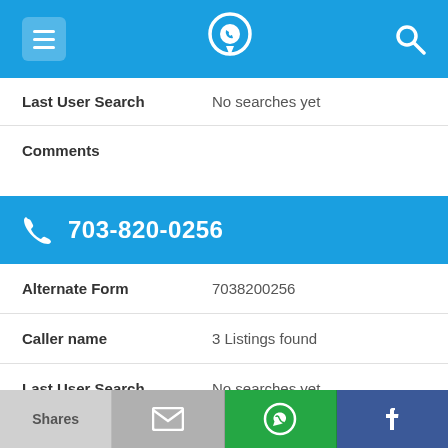703-820-0256 phone lookup app header
Last User Search	No searches yet
Comments
703-820-0256
Alternate Form	7038200256
Caller name	3 Listings found
Last User Search	No searches yet
Comments
Shares | (email) | (WhatsApp) | (Facebook)